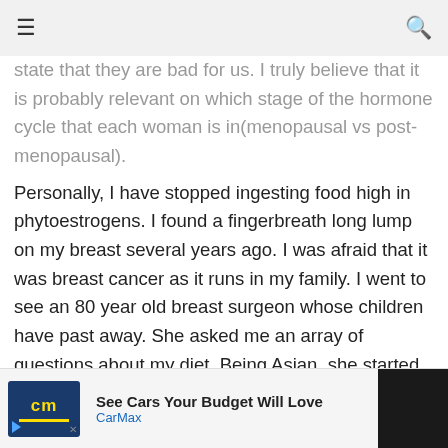≡  [navigation bar]  🔍
state that they are bad for us. I truly believe that it is probably relevant on which stage of the hormone cycle that each woman is in(menopausal vs post-menopausal).
Personally, I have stopped ingesting food high in phytoestrogens. I found a fingerbreath long lump on my breast several years ago. I was afraid that it was breast cancer as it runs in my family. I went to see an 80 year old breast surgeon whose children have past away. She asked me an array of questions about my diet. Being Asian, she started with soy products(tofu, tempeh, soy bean drinks, etc), sesame seed oil, ginger, ginseng, tea, dong quai, etc. I answered yes to all except for the last one. Then the ones that were also bad for me were chocolate, coffee and flaxseed.
Of t... f thin for thre...
[Figure (screenshot): Advertisement banner for CarMax - 'See Cars Your Budget Will Love' with CarMax logo and blue directional arrow icon]